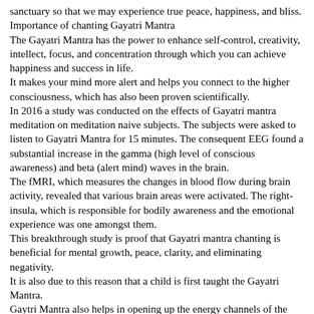sanctuary so that we may experience true peace, happiness, and bliss.
Importance of chanting Gayatri Mantra
The Gayatri Mantra has the power to enhance self-control, creativity, intellect, focus, and concentration through which you can achieve happiness and success in life.
It makes your mind more alert and helps you connect to the higher consciousness, which has also been proven scientifically.
In 2016 a study was conducted on the effects of Gayatri mantra meditation on meditation naive subjects. The subjects were asked to listen to Gayatri Mantra for 15 minutes. The consequent EEG found a substantial increase in the gamma (high level of conscious awareness) and beta (alert mind) waves in the brain.
The fMRI, which measures the changes in blood flow during brain activity, revealed that various brain areas were activated. The right-insula, which is responsible for bodily awareness and the emotional experience was one amongst them.
This breakthrough study is proof that Gayatri mantra chanting is beneficial for mental growth, peace, clarity, and eliminating negativity.
It is also due to this reason that a child is first taught the Gayatri Mantra.
Gaytri Mantra also helps in opening up the energy channels of the subtle body and ensures powerful energy flow through all the chakras. It also helps in balancing the 3 doshas.